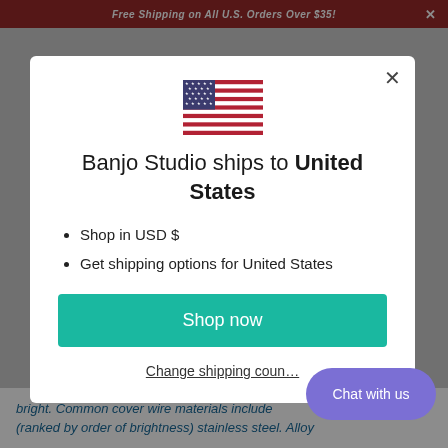Free Shipping on All U.S. Orders Over $35!
[Figure (illustration): US flag emoji/icon]
Banjo Studio ships to United States
Shop in USD $
Get shipping options for United States
Shop now
Change shipping country
Chat with us
bright. Common cover wire materials include (ranked by order of brightness) stainless steel. Alloy